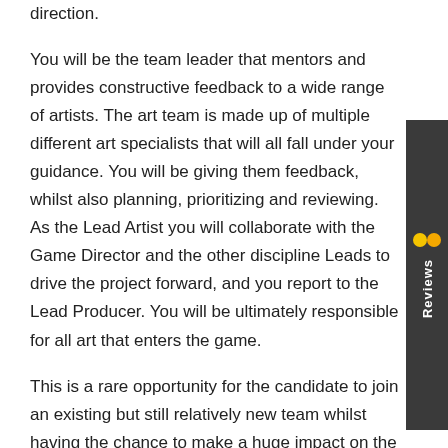direction.

You will be the team leader that mentors and provides constructive feedback to a wide range of artists. The art team is made up of multiple different art specialists that will all fall under your guidance. You will be giving them feedback, whilst also planning, prioritizing and reviewing. As the Lead Artist you will collaborate with the Game Director and the other discipline Leads to drive the project forward, and you report to the Lead Producer. You will be ultimately responsible for all art that enters the game.

This is a rare opportunity for the candidate to join an existing but still relatively new team whilst having the chance to make a huge impact on the game whilst it is still in Early Access. You will play an instrumental and leading role in a small but strong team, making high quality game
[Figure (other): Feefo Reviews tab widget on the right side of the page — a dark gray vertical tab with the Feefo logo (two yellow/orange circles) and the text 'Reviews' written vertically.]